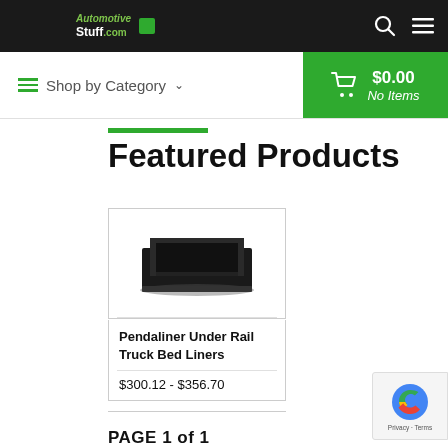AutomotiveStuff.com — navigation bar with logo, search, and menu icons
Shop by Category
$0.00 No Items
Featured Products
[Figure (photo): Pendaliner Under Rail Truck Bed Liner product photo showing a black truck bed liner from an overhead angle]
Pendaliner Under Rail Truck Bed Liners
$300.12 - $356.70
PAGE 1 of 1